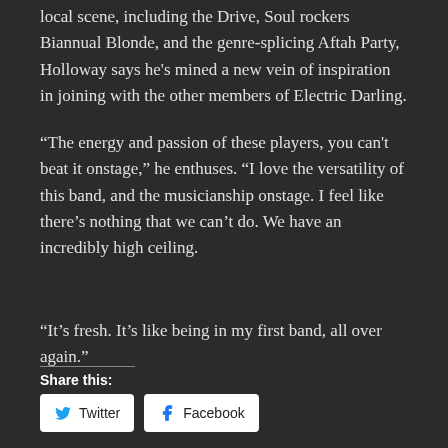local scene, including the Drive, Soul rockers Biannual Blonde, and the genre-splicing Aftah Party, Holloway says he's mined a new vein of inspiration in joining with the other members of Electric Darling.
“The energy and passion of these players, you can't beat it onstage,” he enthuses. “I love the versatility of this band, and the musicianship onstage. I feel like there’s nothing that we can’t do. We have an incredibly high ceiling.
“It’s fresh. It’s like being in my first band, all over again.”
Share this:
Twitter
Facebook